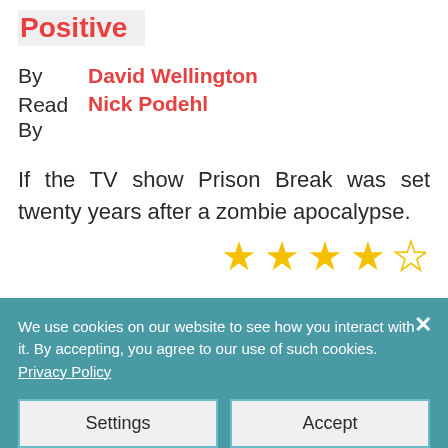Positive
By  David Wellington
Read By  Nick Podehl
If the TV show Prison Break was set twenty years after a zombie apocalypse.
[Figure (other): 4 out of 5 stars rating: 4 filled gold stars and 1 empty gold star]
We use cookies on our website to see how you interact with it. By accepting, you agree to our use of such cookies. Privacy Policy
Settings
Accept